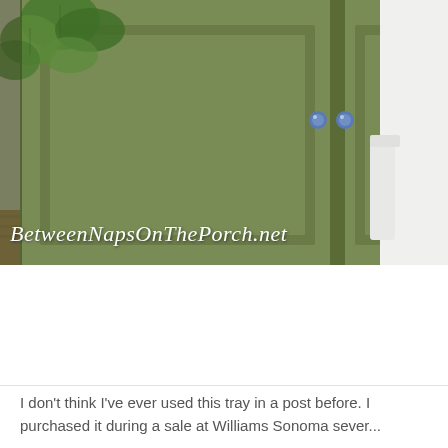[Figure (photo): Kitchen cabinet scene showing sage green painted cabinet doors with blue ceramic knobs, a white countertop or shelf on the right, and a green leafy plant visible in the upper left corner. A watermark reading 'BetweenNapsOnThePorch.net' is overlaid in white italic script at the bottom of the photo.]
I don't think I've ever used this tray in a post before. I purchased it during a sale at Williams Sonoma sever...